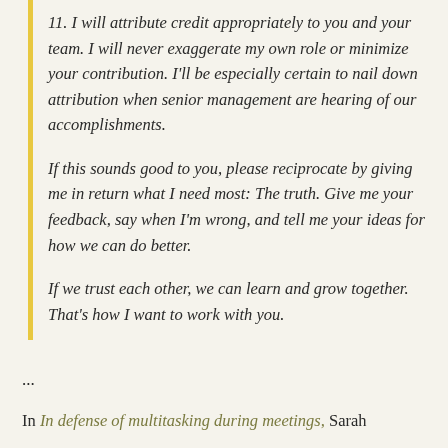11. I will attribute credit appropriately to you and your team. I will never exaggerate my own role or minimize your contribution. I'll be especially certain to nail down attribution when senior management are hearing of our accomplishments.
If this sounds good to you, please reciprocate by giving me in return what I need most: The truth. Give me your feedback, say when I'm wrong, and tell me your ideas for how we can do better.
If we trust each other, we can learn and grow together. That's how I want to work with you.
...
In In defense of multitasking during meetings, Sarah